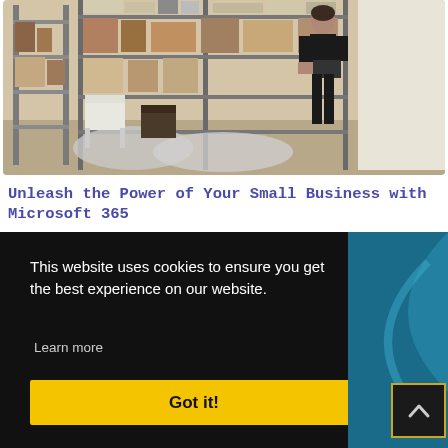[Figure (photo): A person dressed in black standing in a storage room or workshop with metal shelving units filled with boxes, folders, and various items. There are chairs and wrapped objects on the floor.]
Unleash the Power of Your Small Business with Microsoft 365
[Figure (screenshot): Cookie consent banner overlay on dark background. Text reads: 'This website uses cookies to ensure you get the best experience on our website. Learn more' with a yellow 'Got it!' button. To the right, a partial view of a teal/blue curved graphic. Bottom right shows a back-to-top arrow button with gold border.]